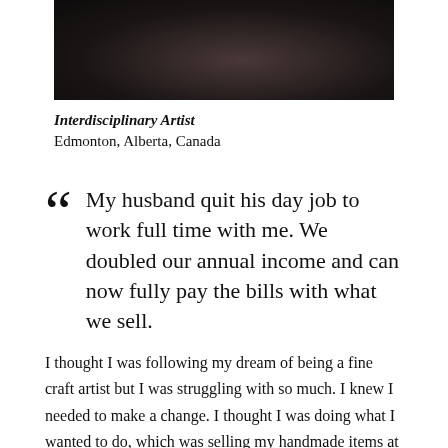[Figure (photo): Cropped photo of a woman with dark hair wearing dark clothing, only the lower portion of the face and upper body visible]
Interdisciplinary Artist
Edmonton, Alberta, Canada
My husband quit his day job to work full time with me. We doubled our annual income and can now fully pay the bills with what we sell.
I thought I was following my dream of being a fine craft artist but I was struggling with so much. I knew I needed to make a change. I thought I was doing what I wanted to do, which was selling my handmade items at craft and art